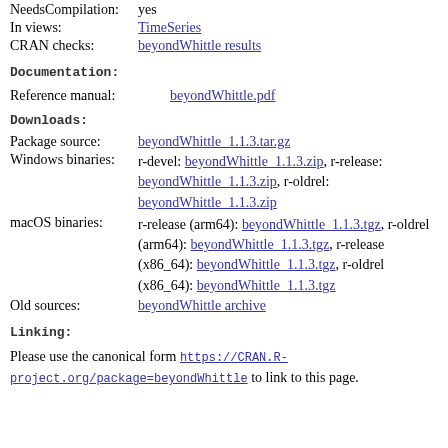NeedsCompilation: yes
In views: TimeSeries
CRAN checks: beyondWhittle results
Documentation:
Reference manual: beyondWhittle.pdf
Downloads:
Package source: beyondWhittle_1.1.3.tar.gz
Windows binaries: r-devel: beyondWhittle_1.1.3.zip, r-release: beyondWhittle_1.1.3.zip, r-oldrel: beyondWhittle_1.1.3.zip
macOS binaries: r-release (arm64): beyondWhittle_1.1.3.tgz, r-oldrel (arm64): beyondWhittle_1.1.3.tgz, r-release (x86_64): beyondWhittle_1.1.3.tgz, r-oldrel (x86_64): beyondWhittle_1.1.3.tgz
Old sources: beyondWhittle archive
Linking:
Please use the canonical form https://CRAN.R-project.org/package=beyondWhittle to link to this page.